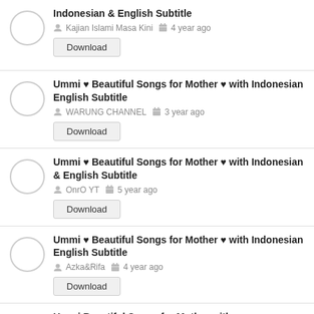Indonesian & English Subtitle
Kajian Islami Masa Kini  4 year ago
Download
Ummi ♥ Beautiful Songs for Mother ♥ with Indonesian English Subtitle
WARUNG CHANNEL  3 year ago
Download
Ummi ♥ Beautiful Songs for Mother ♥ with Indonesian & English Subtitle
OnrO YT  5 year ago
Download
Ummi ♥ Beautiful Songs for Mother ♥ with Indonesian English Subtitle
Azka&Rifa  4 year ago
Download
Ummi Beautiful Songs for Mother with Indonesian & English Subtitle